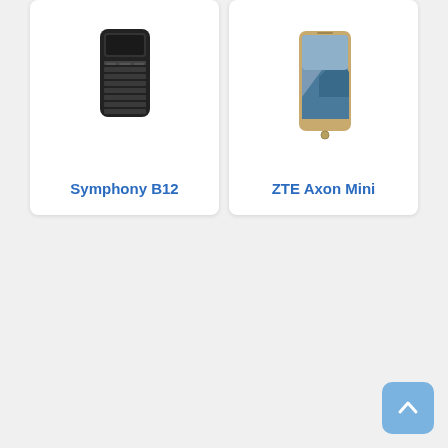[Figure (screenshot): Product card for Symphony B12 feature phone showing a black keypad phone image and blue bold title text 'Symphony B12']
[Figure (screenshot): Product card for ZTE Axon Mini smartphone showing a gold/silver smartphone image and blue bold title text 'ZTE Axon Mini']
[Figure (other): Scroll-to-top button in the bottom right corner, light blue rounded square with an upward chevron arrow icon]